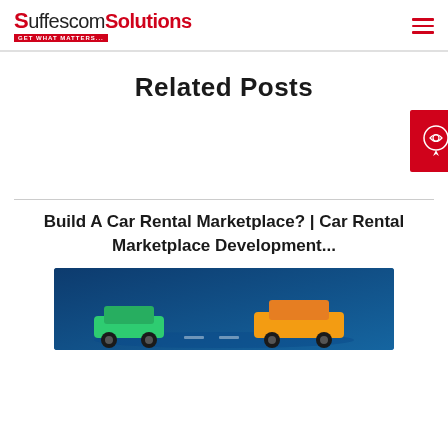Suffescom Solutions - GET WHAT MATTERS...
Related Posts
Build A Car Rental Marketplace? | Car Rental Marketplace Development...
[Figure (photo): Dark blue background image showing a car rental marketplace illustration with vehicles]